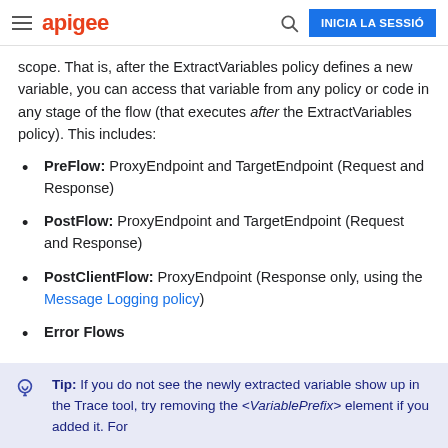apigee | INICIA LA SESSIÓ
scope. That is, after the ExtractVariables policy defines a new variable, you can access that variable from any policy or code in any stage of the flow (that executes after the ExtractVariables policy). This includes:
PreFlow: ProxyEndpoint and TargetEndpoint (Request and Response)
PostFlow: ProxyEndpoint and TargetEndpoint (Request and Response)
PostClientFlow: ProxyEndpoint (Response only, using the Message Logging policy)
Error Flows
Tip: If you do not see the newly extracted variable show up in the Trace tool, try removing the <VariablePrefix> element if you added it. For